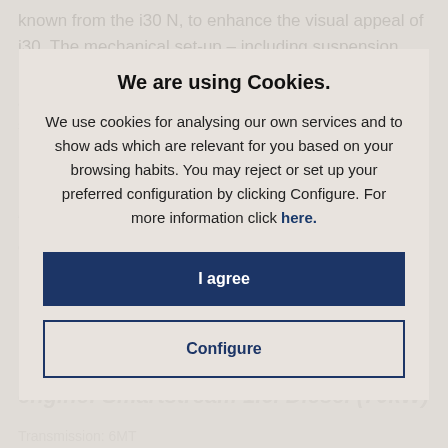known from the i30 N, to enhance the visual appeal of i30. The mechanical set-up – including suspension, brakes
and engine response – has also been tuned to add extra spice to the a…
We are using Cookies.
We use cookies for analysing our own services and to show ads which are relevant for you based on your browsing habits. You may reject or set up your preferred configuration by clicking Configure. For more information click here.
I agree
Fuel… consumption and CO2 emission d…
engine: Smartstream 1.6l Diesel (70kW)
Configure
Transmission: 6MT
CO2 emissions (g/km) urban in NEDC conversion: 115 – 11?